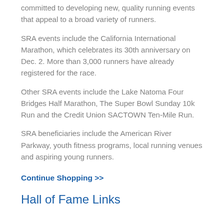committed to developing new, quality running events that appeal to a broad variety of runners.
SRA events include the California International Marathon, which celebrates its 30th anniversary on Dec. 2. More than 3,000 runners have already registered for the race.
Other SRA events include the Lake Natoma Four Bridges Half Marathon, The Super Bowl Sunday 10k Run and the Credit Union SACTOWN Ten-Mile Run.
SRA beneficiaries include the American River Parkway, youth fitness programs, local running venues and aspiring young runners.
Continue Shopping >>
Hall of Fame Links